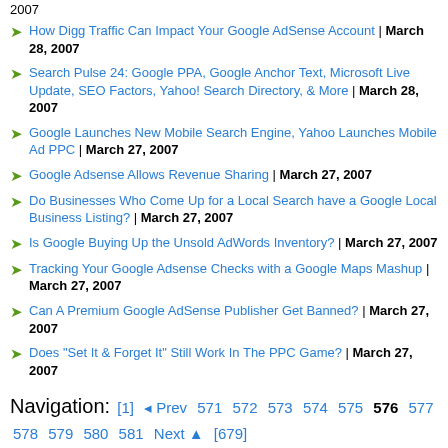2007
How Digg Traffic Can Impact Your Google AdSense Account | March 28, 2007
Search Pulse 24: Google PPA, Google Anchor Text, Microsoft Live Update, SEO Factors, Yahoo! Search Directory, & More | March 28, 2007
Google Launches New Mobile Search Engine, Yahoo Launches Mobile Ad PPC | March 27, 2007
Google Adsense Allows Revenue Sharing | March 27, 2007
Do Businesses Who Come Up for a Local Search have a Google Local Business Listing? | March 27, 2007
Is Google Buying Up the Unsold AdWords Inventory? | March 27, 2007
Tracking Your Google Adsense Checks with a Google Maps Mashup | March 27, 2007
Can A Premium Google AdSense Publisher Get Banned? | March 27, 2007
Does "Set It & Forget It" Still Work In The PPC Game? | March 27, 2007
Navigation: [1] Prev 571 572 573 574 575 576 577 578 579 580 581 Next [679]
THE PULSE OF THE SEARCH COMMUNITY
SUBSCRIBE - Twitter, Facebook, RSS - Enter Email Address - Subscribe Now